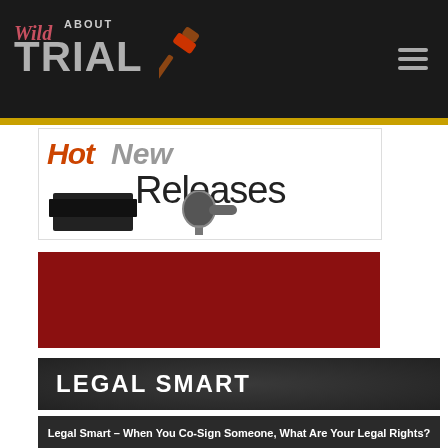Wild About Trial
[Figure (illustration): Hot New Releases banner with product images (game console and microphone)]
[Figure (illustration): Crime Watch Daily banner featuring Wild About Trial segment advertisement]
LEGAL SMART
[Figure (photo): Legal Smart article photo with text overlay: Legal Smart – When You Co-Sign Someone, What Are Your Legal Rights?]